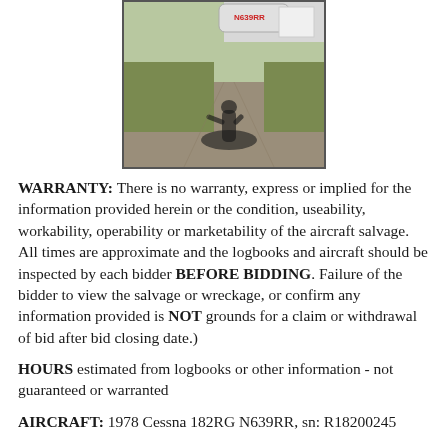[Figure (photo): Aerial/ground-level photo of a small aircraft (N639RR) on a grassy/paved area, with a shadow of a person photographing it visible on the ground.]
WARRANTY:  There is no warranty, express or implied for the information provided herein or the condition, useability, workability, operability or marketability of the aircraft salvage.  All times are approximate and the logbooks and aircraft should be inspected by each bidder BEFORE BIDDING.  Failure of the bidder to view the salvage or wreckage, or confirm any information provided is NOT grounds for a claim or withdrawal of bid after bid closing date.)
HOURS estimated from logbooks or other information - not guaranteed or warranted
AIRCRAFT:   1978 Cessna 182RG N639RR, sn: R18200245